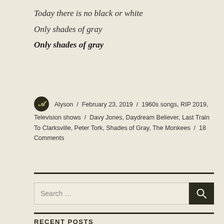Today there is no black or white
Only shades of gray
Only shades of gray
Alyson / February 23, 2019 / 1960s songs, RIP 2019, Television shows / Davy Jones, Daydream Believer, Last Train To Clarksville, Peter Tork, Shades of Gray, The Monkees / 18 Comments
Search ...
RECENT POSTS